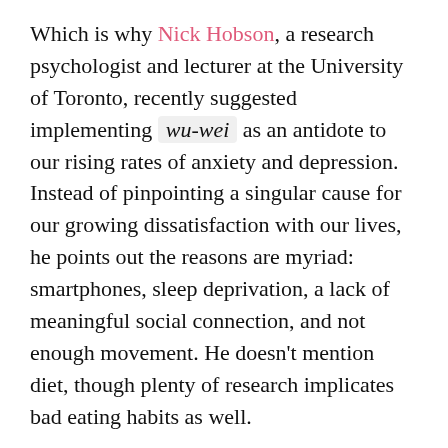Which is why Nick Hobson, a research psychologist and lecturer at the University of Toronto, recently suggested implementing wu-wei as an antidote to our rising rates of anxiety and depression. Instead of pinpointing a singular cause for our growing dissatisfaction with our lives, he points out the reasons are myriad: smartphones, sleep deprivation, a lack of meaningful social connection, and not enough movement. He doesn't mention diet, though plenty of research implicates bad eating habits as well.
While the causes are many, Hobson points to our penchant for overanalyzing every situation as the elephant in the mind. Instead